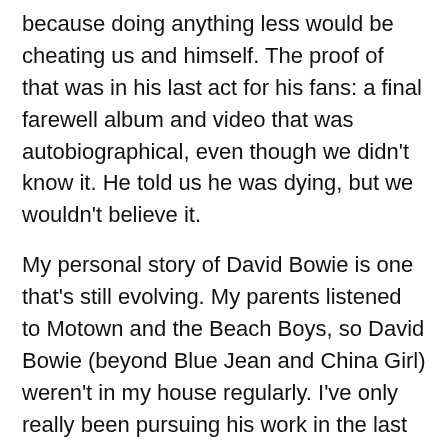because doing anything less would be cheating us and himself. The proof of that was in his last act for his fans: a final farewell album and video that was autobiographical, even though we didn't know it. He told us he was dying, but we wouldn't believe it.
My personal story of David Bowie is one that's still evolving. My parents listened to Motown and the Beach Boys, so David Bowie (beyond Blue Jean and China Girl) weren't in my house regularly. I've only really been pursuing his work in the last 15 years; Hunky Dory is still my favorite, but I'm slowly growing a collection of all his work. I'm grateful I came to him this late in life, because I can spend the next 40 years making up for lost time.
Here's one of my favorites from Hunky Dory, the sweetest lullabye ever written: